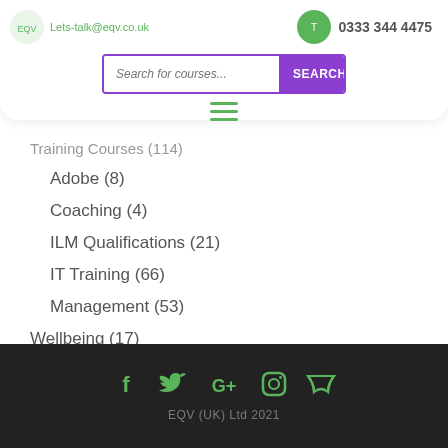Lets-talk@eqv.co.uk | 0333 344 4475
Search for courses...
Training Courses (114)
Adobe (8)
Coaching (4)
ILM Qualifications (21)
IT Training (66)
Management (53)
Wellbeing (17)
EQV (UK) Ltd 2021